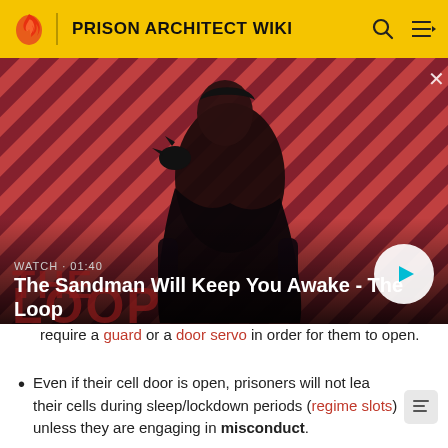PRISON ARCHITECT WIKI
[Figure (screenshot): Video thumbnail for 'The Sandman Will Keep You Awake - The Loop'. Shows a dark figure with a crow on their shoulder against a red diagonal-striped background. Overlaid text: WATCH · 01:40 and title. Play button on right.]
require a guard or a door servo in order for them to open.
Even if their cell door is open, prisoners will not leave their cells during sleep/lockdown periods (regime slots) unless they are engaging in misconduct.